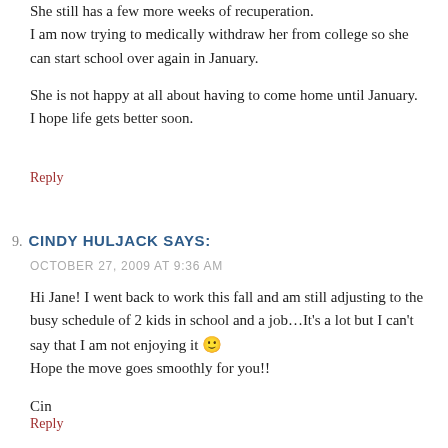She still has a few more weeks of recuperation. I am now trying to medically withdraw her from college so she can start school over again in January.

She is not happy at all about having to come home until January.
I hope life gets better soon.
Reply
9. CINDY HULJACK SAYS:
OCTOBER 27, 2009 AT 9:36 AM
Hi Jane! I went back to work this fall and am still adjusting to the busy schedule of 2 kids in school and a job…It's a lot but I can't say that I am not enjoying it 🙂 Hope the move goes smoothly for you!!

Cin
Reply